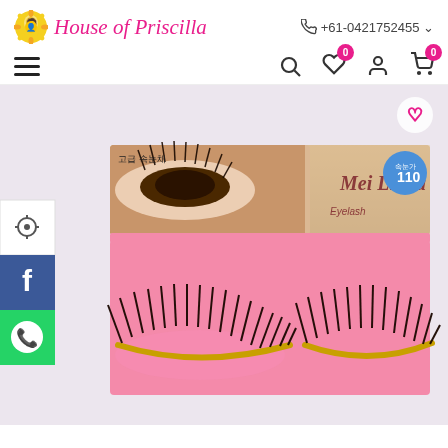House of Priscilla | +61-0421752455
[Figure (photo): Product photo of Mei Linda 110 Eyelash false lashes in pink packaging with Korean text, showing a pair of dramatic black false eyelashes with gold band displayed on a pink background. The packaging shows a close-up eye with dramatic lashes and the brand name Mei Linda 110 Eyelash.]